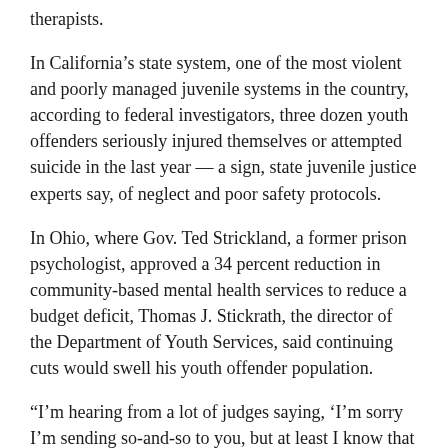therapists.
In California's state system, one of the most violent and poorly managed juvenile systems in the country, according to federal investigators, three dozen youth offenders seriously injured themselves or attempted suicide in the last year — a sign, state juvenile justice experts say, of neglect and poor safety protocols.
In Ohio, where Gov. Ted Strickland, a former prison psychologist, approved a 34 percent reduction in community-based mental health services to reduce a budget deficit, Thomas J. Stickrath, the director of the Department of Youth Services, said continuing cuts would swell his youth offender population.
“I’m hearing from a lot of judges saying, ‘I’m sorry I’m sending so-and-so to you, but at least I know that he’ll get the treatment he can’t get in his community,’ ” Mr. Stickrath said.
But youths are often subjected to neglect and violence in juvenile prisons, and studies show that mental illnesses can become worse there.